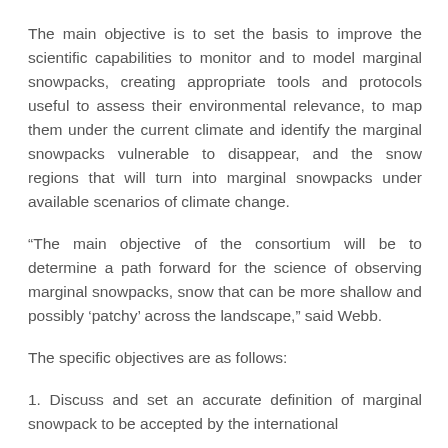The main objective is to set the basis to improve the scientific capabilities to monitor and to model marginal snowpacks, creating appropriate tools and protocols useful to assess their environmental relevance, to map them under the current climate and identify the marginal snowpacks vulnerable to disappear, and the snow regions that will turn into marginal snowpacks under available scenarios of climate change.
“The main objective of the consortium will be to determine a path forward for the science of observing marginal snowpacks, snow that can be more shallow and possibly ‘patchy’ across the landscape,” said Webb.
The specific objectives are as follows:
1. Discuss and set an accurate definition of marginal snowpack to be accepted by the international